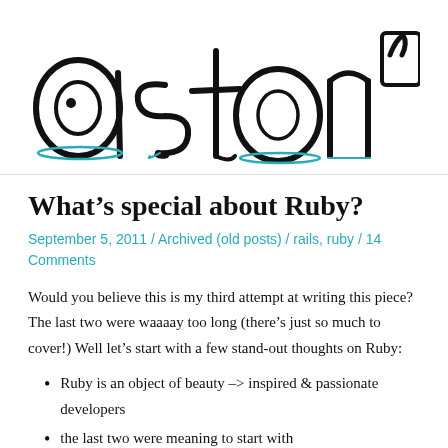[Figure (logo): Hand-drawn sketch style logo reading 'aston'' in large bubble/graffiti letters with teal/cyan accents]
What's special about Ruby?
September 5, 2011 / Archived (old posts) / rails, ruby / 14 Comments
Would you believe this is my third attempt at writing this piece? The last two were waaaay too long (there's just so much to cover!) Well let's start with a few stand-out thoughts on Ruby:
Ruby is an object of beauty –> inspired & passionate developers
the last two were meaning to start with